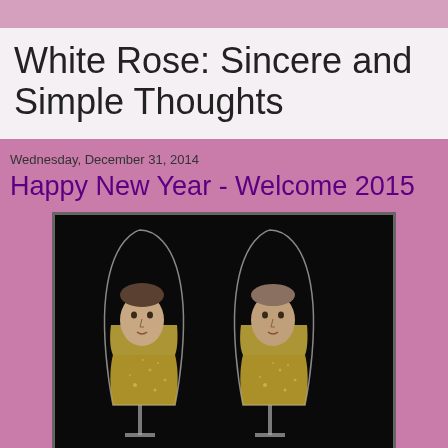White Rose: Sincere and Simple Thoughts
Wednesday, December 31, 2014
Happy New Year - Welcome 2015
[Figure (photo): Two champagne flute glasses with faces of two men appearing inside each glass, set against a black background]